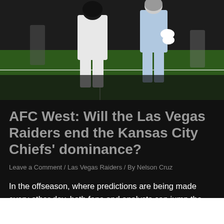[Figure (photo): Football players on field, one in white Raiders uniform and one in light blue uniform, on a green field with white yard lines]
AFC West: Will the Las Vegas Raiders end the Kansas City Chiefs' dominance?
Leave a Comment / Las Vegas Raiders / By Nelson Cruz
In the offseason, where predictions are being made every other day, both fans and analysts can jump the gun on specific teams. Recently, one of the most controversial sports